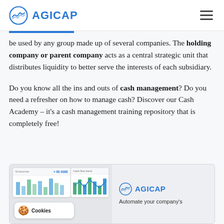AGICAP
be used by any group made up of several companies. The holding company or parent company acts as a central strategic unit that distributes liquidity to better serve the interests of each subsidiary.

Do you know all the ins and outs of cash management? Do you need a refresher on how to manage cash? Discover our Cash Academy – it's a cash management training repository that is completely free!
[Figure (screenshot): Agicap product screenshot showing a dashboard UI with a cookie consent banner overlay on the left, a bar chart on the right, and the Agicap logo with tagline 'Automate your company's' on the right side of the ad box.]